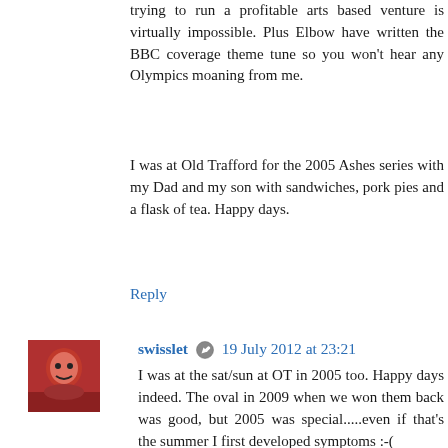trying to run a profitable arts based venture is virtually impossible. Plus Elbow have written the BBC coverage theme tune so you won't hear any Olympics moaning from me.
I was at Old Trafford for the 2005 Ashes series with my Dad and my son with sandwiches, pork pies and a flask of tea. Happy days.
Reply
swisslet  19 July 2012 at 23:21
I was at the sat/sun at OT in 2005 too. Happy days indeed. The oval in 2009 when we won them back was good, but 2005 was special.....even if that's the summer I first developed symptoms :-(
Reply
Crucifer  20 July 2012 at 06:36
Sports are not for me and I do harbour a cynical train of